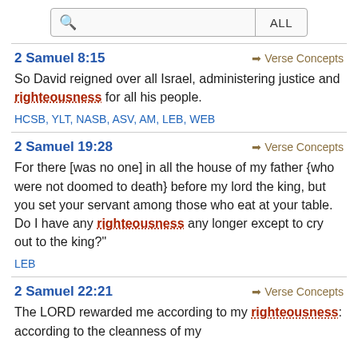[Figure (screenshot): Search bar with magnifying glass icon and ALL button]
2 Samuel 8:15
So David reigned over all Israel, administering justice and righteousness for all his people.
HCSB, YLT, NASB, ASV, AM, LEB, WEB
2 Samuel 19:28
For there [was no one] in all the house of my father {who were not doomed to death} before my lord the king, but you set your servant among those who eat at your table. Do I have any righteousness any longer except to cry out to the king?"
LEB
2 Samuel 22:21
The LORD rewarded me according to my righteousness: according to the cleanness of my